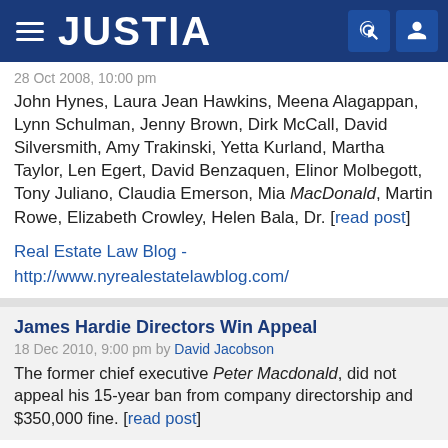JUSTIA
28 Oct 2008, 10:00 pm
John Hynes, Laura Jean Hawkins, Meena Alagappan, Lynn Schulman, Jenny Brown, Dirk McCall, David Silversmith, Amy Trakinski, Yetta Kurland, Martha Taylor, Len Egert, David Benzaquen, Elinor Molbegott, Tony Juliano, Claudia Emerson, Mia MacDonald, Martin Rowe, Elizabeth Crowley, Helen Bala, Dr. [read post]
Real Estate Law Blog - http://www.nyrealestatelawblog.com/
James Hardie Directors Win Appeal
18 Dec 2010, 9:00 pm by David Jacobson
The former chief executive Peter Macdonald, did not appeal his 15-year ban from company directorship and $350,000 fine. [read post]